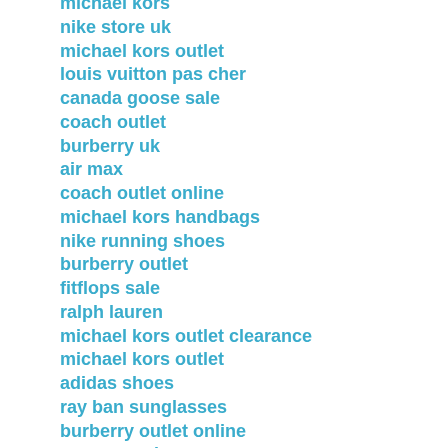michael kors
nike store uk
michael kors outlet
louis vuitton pas cher
canada goose sale
coach outlet
burberry uk
air max
coach outlet online
michael kors handbags
nike running shoes
burberry outlet
fitflops sale
ralph lauren
michael kors outlet clearance
michael kors outlet
adidas shoes
ray ban sunglasses
burberry outlet online
converse shoes
ralph lauren pas cher
adidas superstars
vans shoes